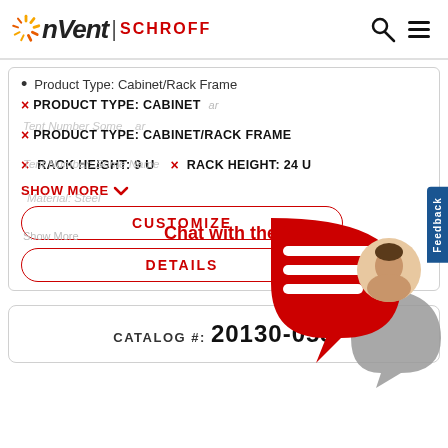[Figure (logo): nVent SCHROFF logo with sun-ray icon and search/menu icons top right]
Product Type: Cabinet/Rack Frame
× PRODUCT TYPE: CABINET
× PRODUCT TYPE: CABINET/RACK FRAME
× RACK HEIGHT: 9 U   × RACK HEIGHT: 24 U
SHOW MORE ∨
Chat with the team
CUSTOMIZE
DETAILS
[Figure (illustration): Red chat bubble with white lines and a person avatar photo, gray speech bubble behind]
CATALOG #: 20130-053